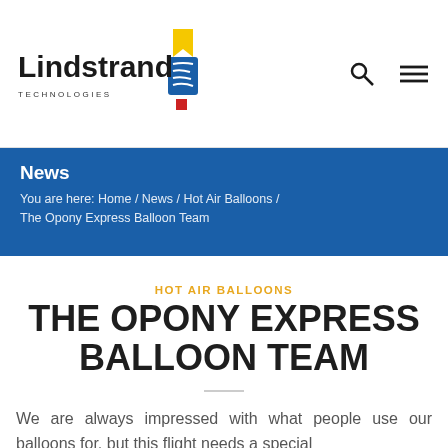[Figure (logo): Lindstrand Technologies logo with stylized balloon icon in blue and yellow, red square below]
News / You are here: Home / News / Hot Air Balloons / The Opony Express Balloon Team
HOT AIR BALLOONS
THE OPONY EXPRESS BALLOON TEAM
We are always impressed with what people use our balloons for, but this flight needs a special